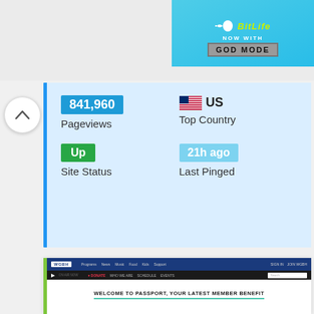[Figure (screenshot): BitLife advertisement banner - 'NOW WITH GOD MODE']
841,960
Pageviews
US
Top Country
Up
Site Status
21h ago
Last Pinged
[Figure (screenshot): WGBH website screenshot showing 'WELCOME TO PASSPORT, YOUR LATEST MEMBER BENEFIT']